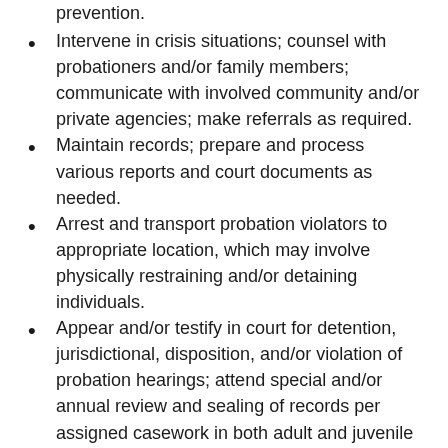prevention.
Intervene in crisis situations; counsel with probationers and/or family members; communicate with involved community and/or private agencies; make referrals as required.
Maintain records; prepare and process various reports and court documents as needed.
Arrest and transport probation violators to appropriate location, which may involve physically restraining and/or detaining individuals.
Appear and/or testify in court for detention, jurisdictional, disposition, and/or violation of probation hearings; attend special and/or annual review and sealing of records per assigned casework in both adult and juvenile cases.
Perform drug tests following established policies and procedures, including: collecting urine specimens; sending specimens to appropriate laboratory; and